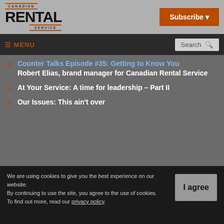Canadian Rental Service — Subscribe
≡ MENU | Search
Counter Talks Episode #35: Getting to Know You Robert Elias, brand manager for Canadian Rental Service
At Your Service: A time for leadership – Part II
Our Issues: This ain't over
We are using cookies to give you the best experience on our website. By continuing to use the site, you agree to the use of cookies. To find out more, read our privacy policy.